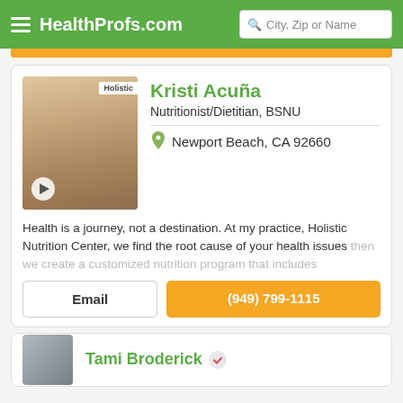HealthProfs.com
[Figure (photo): Profile photo of Kristi Acuña with Holistic label, play button overlay]
Kristi Acuña
Nutritionist/Dietitian, BSNU
Newport Beach, CA 92660
Health is a journey, not a destination. At my practice, Holistic Nutrition Center, we find the root cause of your health issues then we create a customized nutrition program that includes
Email
(949) 799-1115
Tami Broderick